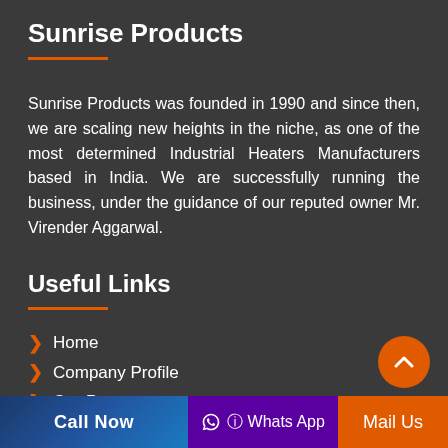Sunrise Products
Sunrise Products was founded in 1990 and since then, we are scaling new heights in the niche, as one of the most determined Industrial Heaters Manufacturers based in India. We are successfully running the business, under the guidance of our reputed owner Mr. Virender Aggarwal.
Useful Links
Home
Company Profile
Our Presence
Sitemap
Contact Us
Call Now | Whats App | Mail Us